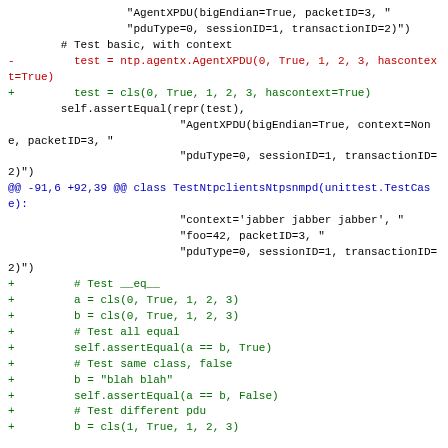Code diff showing Python unit test modifications for AgentXPDU and TestNtpclientsNtpsnmpd classes